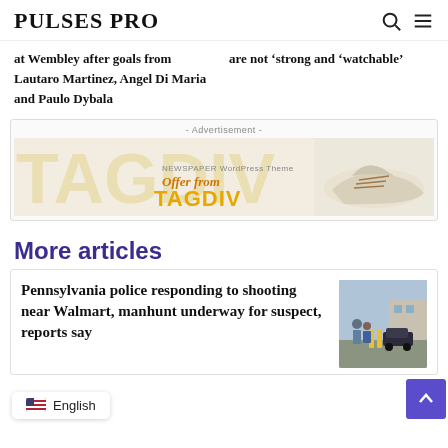PULSES PRO
at Wembley after goals from Lautaro Martinez, Angel Di Maria and Paulo Dybala
are not ‘strong and ‘watchable’
[Figure (infographic): Advertisement banner for TAGDIV Newspaper WordPress Theme showing a shoe image and text 'Offer from TAGDIV' in yellow/orange colors]
More articles
Pennsylvania police responding to shooting near Walmart, manhunt underway for suspect, reports say
[Figure (photo): Photo of people near a Walmart parking lot with vehicles]